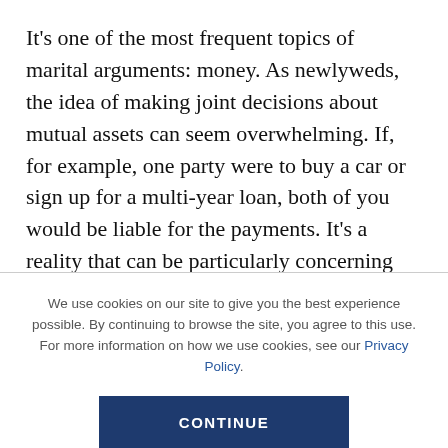It's one of the most frequent topics of marital arguments: money. As newlyweds, the idea of making joint decisions about mutual assets can seem overwhelming. If, for example, one party were to buy a car or sign up for a multi-year loan, both of you would be liable for the payments. It's a reality that can be particularly concerning for millennials, who are already facing issues such as student loan debt and stagnant wages.
We use cookies on our site to give you the best experience possible. By continuing to browse the site, you agree to this use. For more information on how we use cookies, see our Privacy Policy.
CONTINUE